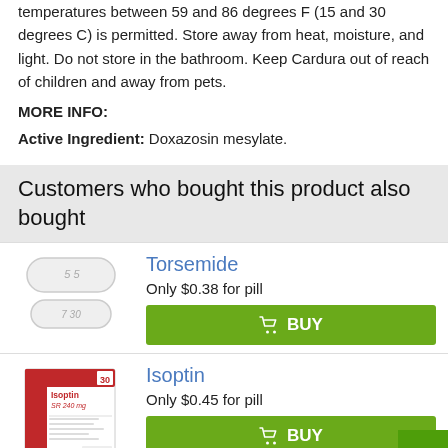temperatures between 59 and 86 degrees F (15 and 30 degrees C) is permitted. Store away from heat, moisture, and light. Do not store in the bathroom. Keep Cardura out of reach of children and away from pets.
MORE INFO:
Active Ingredient: Doxazosin mesylate.
Customers who bought this product also bought
[Figure (photo): Two white oval/capsule shaped pills for Torsemide]
Torsemide
Only $0.38 for pill
[Figure (photo): Isoptin SR 240 mg medication box with red and white packaging]
Isoptin
Only $0.45 for pill
D...